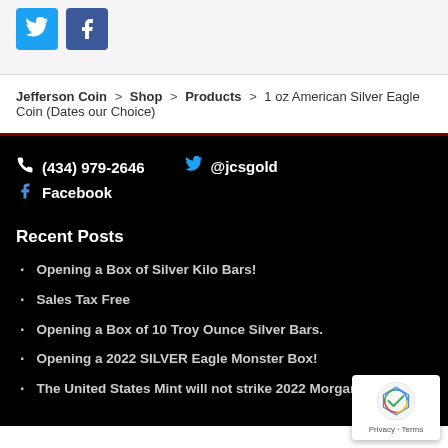[Figure (other): Twitter and Facebook social share icon buttons]
Jefferson Coin > Shop > Products > 1 oz American Silver Eagle Coin (Dates our Choice)
(434) 979-2646   @jcsgold   Facebook
Recent Posts
Opening a Box of Silver Kilo Bars!
Sales Tax Free
Opening a Box of 10 Troy Ounce Silver Bars.
Opening a 2022 SILVER Eagle Monster Box!
The United States Mint will not strike 2022 Morgan dollars